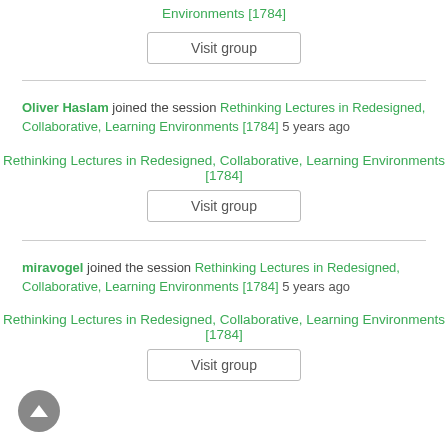Environments [1784]
Visit group
Oliver Haslam joined the session Rethinking Lectures in Redesigned, Collaborative, Learning Environments [1784] 5 years ago
Rethinking Lectures in Redesigned, Collaborative, Learning Environments [1784]
Visit group
miravogel joined the session Rethinking Lectures in Redesigned, Collaborative, Learning Environments [1784] 5 years ago
Rethinking Lectures in Redesigned, Collaborative, Learning Environments [1784]
Visit group